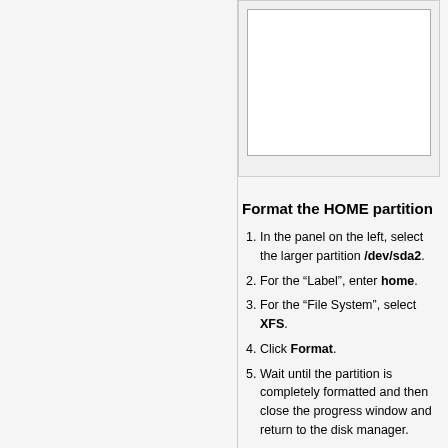[Figure (screenshot): Screenshot of a disk manager application window, partially visible at top right]
Format the HOME partition
In the panel on the left, select the larger partition /dev/sda2.
For the “Label”, enter home.
For the “File System”, select XFS.
Click Format.
Wait until the partition is completely formatted and then close the progress window and return to the disk manager.